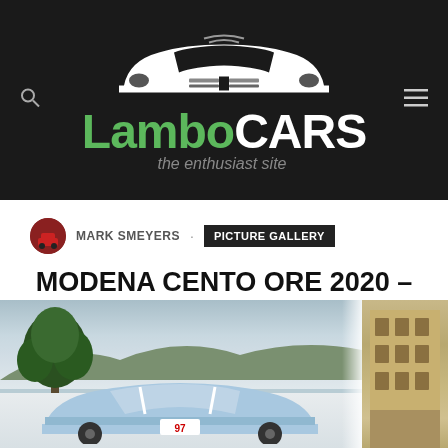[Figure (logo): LamboCars website logo: dark background with white car silhouette, green 'Lambo' and white 'CARS' text, italic tagline 'the enthusiast site']
MARK SMEYERS · PICTURE GALLERY
MODENA CENTO ORE 2020 – PICTURES & GALLERY
[Figure (photo): Two photos side by side: left shows a light blue classic rally car with roll cage markings at a scenic outdoor location with trees and mountains; right shows a building facade]